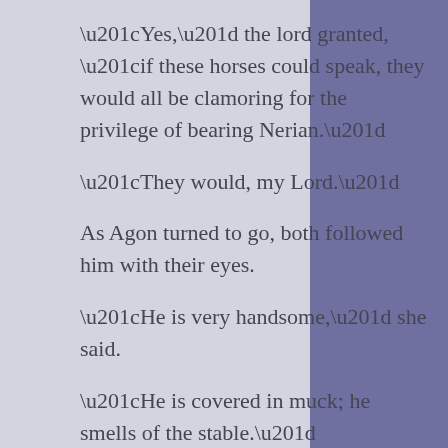“Yes,” the lord granted, “if these horses could speak, they would all be clamoring for the privilege of bearing Nerian.”
“They would, my Lord.”
As Agon turned to go, both followed him with their eyes.
“He is very handsome,” she said.
“He is covered in muck; he smells of the stable.”
“His bearing,” she sighed. Then, with a playful toss of her head, the elf-maiden turned toward